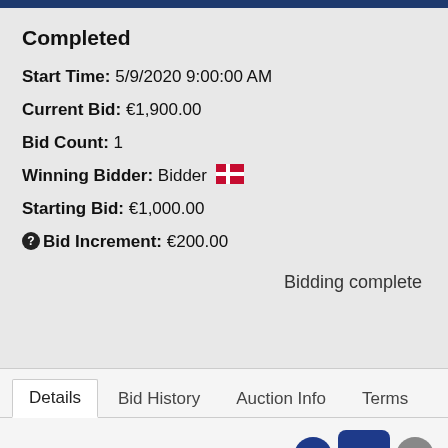Completed
Start Time: 5/9/2020 9:00:00 AM
Current Bid: €1,900.00
Bid Count: 1
Winning Bidder: Bidder [Danish flag]
Starting Bid: €1,000.00
Bid Increment: €200.00
Bidding complete
Details | Bid History | Auction Info | Terms
Contacts    Print Page
"Has been to training shows, XC, hunted on a few